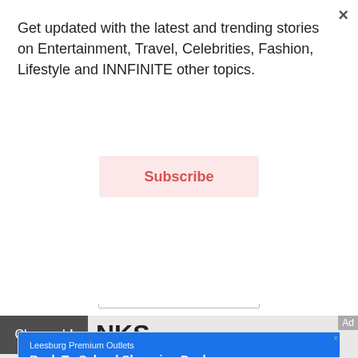Get updated with the latest and trending stories on Entertainment, Travel, Celebrities, Fashion, Lifestyle and INNFINITE other topics.
Subscribe
Load more
Close ad
NKS
Ad
[Figure (screenshot): Google Maps ad for Leesburg Premium Outlets showing a blue header with store name, Back To School Shopping Deals title, Gear up for back to school! subtitle, a Google Maps image with a location pin, and Store info / Directions buttons at the bottom.]